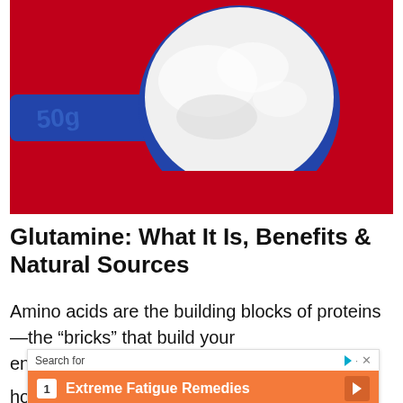[Figure (photo): A blue measuring scoop filled with white powder (glutamine supplement) placed on a red background. The scoop shows '50g' markings.]
Glutamine: What It Is, Benefits & Natural Sources
Amino acids are the building blocks of proteins—the "bricks" that build your enzymes, hormones, skin, hair, nails, etc. It you